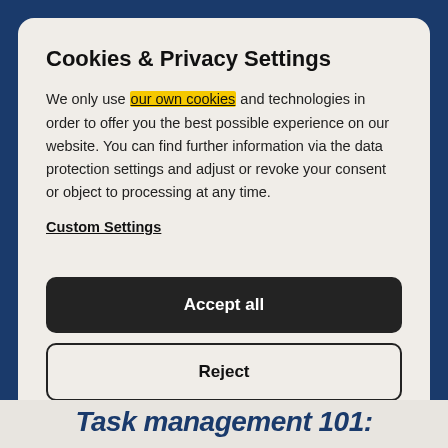Cookies & Privacy Settings
We only use our own cookies and technologies in order to offer you the best possible experience on our website. You can find further information via the data protection settings and adjust or revoke your consent or object to processing at any time.
Custom Settings
Accept all
Reject
Privacy policy   Legal notice
Task management 101: